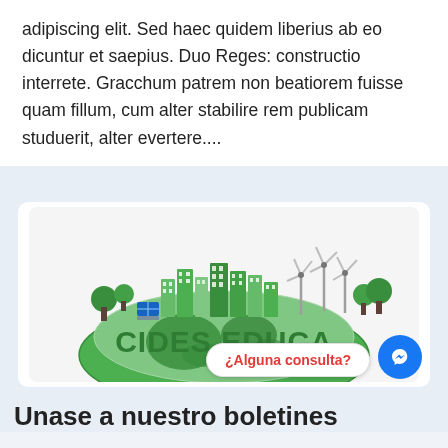adipiscing elit. Sed haec quidem liberius ab eo dicuntur et saepius. Duo Reges: constructio interrete. Gracchum patrem non beatiorem fuisse quam fillum, cum alter stabilire rem publicam studuerit, alter evertere....
[Figure (logo): CIDES EDUCA logo showing a green globe/earth with eco-friendly city buildings, trees, solar panels and wind turbines on top, with the text 'CIDES EDUCA' in bold green letters]
Unase a nuestro boletines